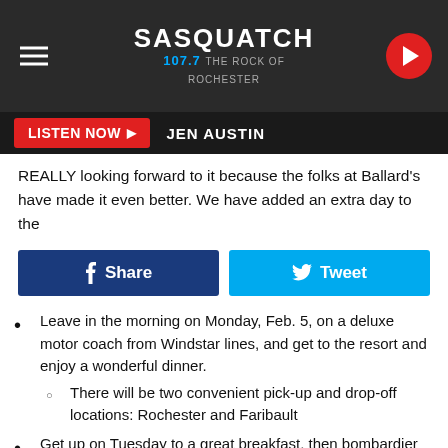Sasquatch 107.7 The Rock of Rochester
REALLY looking forward to it because the folks at Ballard's have made it even better. We have added an extra day to the
[Figure (screenshot): Facebook Share and Twitter Tweet social media buttons]
Leave in the morning on Monday, Feb. 5, on a deluxe motor coach from Windstar lines, and get to the resort and enjoy a wonderful dinner.
There will be two convenient pick-up and drop-off locations: Rochester and Faribault
Get up on Tuesday to a great breakfast, then bombardier transportation to your fish house by your expert guide, where you'll fish all day and have lunch on the lake. Dinner will be back at the resort.